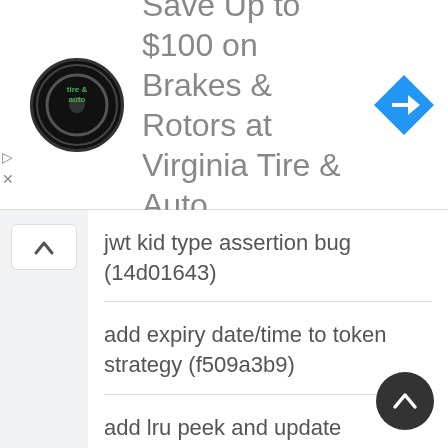[Figure (illustration): Advertisement banner: Virginia Tire & Auto logo (circular black badge with green 'tire & auto' text), large text 'Save Up to $100 on Brakes & Rotors at Virginia Tire & Auto', blue diamond navigation arrow icon on right. Small play and close icons on left edge.]
jwt kid type assertion bug (14d01643)
add expiry date/time to token strategy (f509a3b9)
add lru peek and update (710ff6ee)
add lru update func